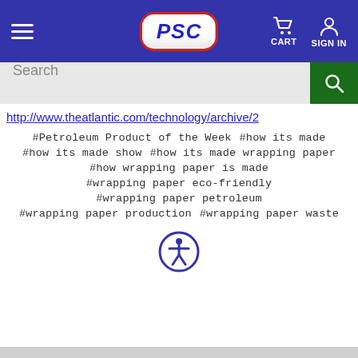[Figure (screenshot): PSC website navigation bar with hamburger menu, PSC logo, cart icon, and sign in icon on blue background]
[Figure (screenshot): Search bar with text input and green search button]
http://www.theatlantic.com/technology/archive/2
#Petroleum Product of the Week   #how its made
#how its made show   #how its made wrapping paper
#how wrapping paper is made
#wrapping paper eco-friendly
#wrapping paper petroleum
#wrapping paper production   #wrapping paper waste
[Figure (illustration): Accessibility icon - person in circle]